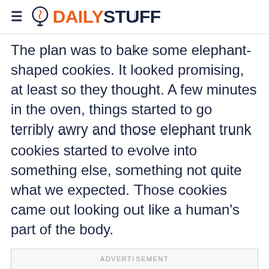DAILYSTUFF
The plan was to bake some elephant-shaped cookies. It looked promising, at least so they thought. A few minutes in the oven, things started to go terribly awry and those elephant trunk cookies started to evolve into something else, something not quite what we expected. Those cookies came out looking out like a human's part of the body.
ADVERTISEMENT